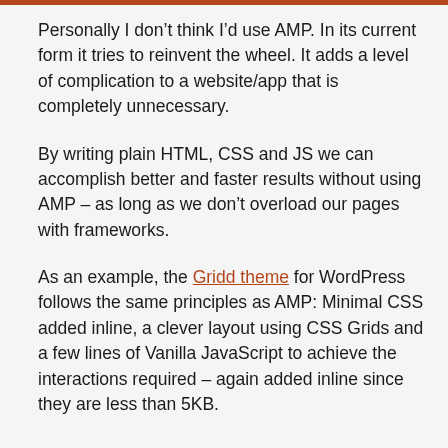Personally I don’t think I’d use AMP. In its current form it tries to reinvent the wheel. It adds a level of complication to a website/app that is completely unnecessary.
By writing plain HTML, CSS and JS we can accomplish better and faster results without using AMP – as long as we don’t overload our pages with frameworks.
As an example, the Gridd theme for WordPress follows the same principles as AMP: Minimal CSS added inline, a clever layout using CSS Grids and a few lines of Vanilla JavaScript to achieve the interactions required – again added inline since they are less than 5KB.